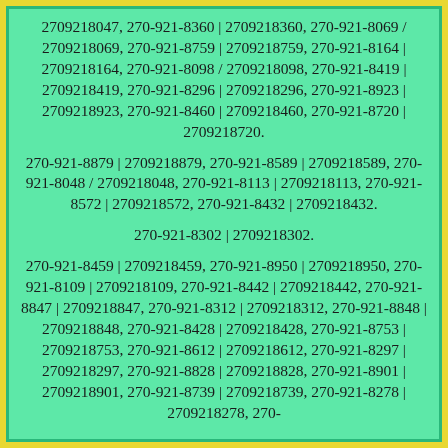2709218047, 270-921-8360 | 2709218360, 270-921-8069 / 2709218069, 270-921-8759 | 2709218759, 270-921-8164 | 2709218164, 270-921-8098 / 2709218098, 270-921-8419 | 2709218419, 270-921-8296 | 2709218296, 270-921-8923 | 2709218923, 270-921-8460 | 2709218460, 270-921-8720 | 2709218720.
270-921-8879 | 2709218879, 270-921-8589 | 2709218589, 270-921-8048 / 2709218048, 270-921-8113 | 2709218113, 270-921-8572 | 2709218572, 270-921-8432 | 2709218432.
270-921-8302 | 2709218302.
270-921-8459 | 2709218459, 270-921-8950 | 2709218950, 270-921-8109 | 2709218109, 270-921-8442 | 2709218442, 270-921-8847 | 2709218847, 270-921-8312 | 2709218312, 270-921-8848 | 2709218848, 270-921-8428 | 2709218428, 270-921-8753 | 2709218753, 270-921-8612 | 2709218612, 270-921-8297 | 2709218297, 270-921-8828 | 2709218828, 270-921-8901 | 2709218901, 270-921-8739 | 2709218739, 270-921-8278 | 2709218278, 270-921-8351 | 2709218351, 270-921-8341 |